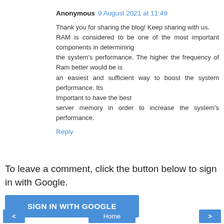Anonymous 9 August 2021 at 11:49
Thank you for sharing the blog! Keep sharing with us. RAM is considered to be one of the most important components in determining the system's performance. The higher the frequency of Ram better would be is an easiest and sufficient way to boost the system performance. Its Important to have the best server memory in order to increase the system's performance.
Reply
To leave a comment, click the button below to sign in with Google.
SIGN IN WITH GOOGLE